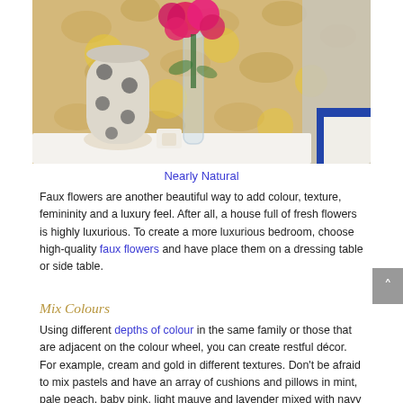[Figure (photo): A bedside/dressing table scene with a decorative polka-dot vase, a glass vase with bright pink faux flowers, a small candle holder, and a blue-trimmed white pillow in the background, against a floral yellow and cream wallpaper.]
Nearly Natural
Faux flowers are another beautiful way to add colour, texture, femininity and a luxury feel. After all, a house full of fresh flowers is highly luxurious. To create a more luxurious bedroom, choose high-quality faux flowers and have place them on a dressing table or side table.
Mix Colours
Using different depths of colour in the same family or those that are adjacent on the colour wheel, you can create restful décor. For example, cream and gold in different textures. Don't be afraid to mix pastels and have an array of cushions and pillows in mint, pale peach, baby pink, light mauve and lavender mixed with navy blue